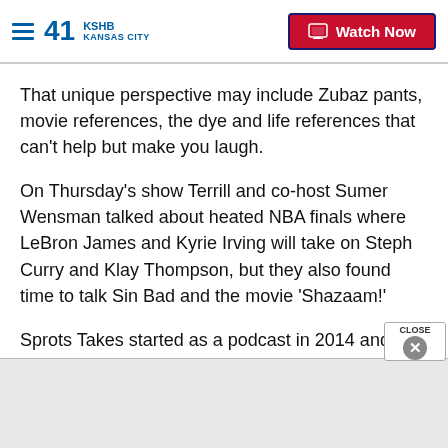41 KSHB KANSAS CITY — Watch Now
That unique perspective may include Zubaz pants, movie references, the dye and life references that can't help but make you laugh.
On Thursday's show Terrill and co-host Sumer Wensman talked about heated NBA finals where LeBron James and Kyrie Irving will take on Steph Curry and Klay Thompson, but they also found time to talk Sin Bad and the movie 'Shazaam!'
Sprots Takes started as a podcast in 2014 and at this point, Terrill has more than a dozen web-only writ…